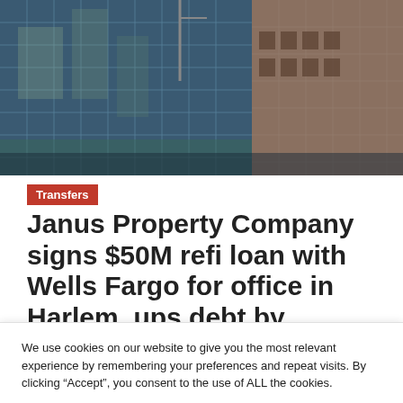[Figure (photo): Exterior photo of a modern glass-facade office building reflecting surrounding buildings, urban setting.]
Transfers
Janus Property Company signs $50M refi loan with Wells Fargo for office in Harlem, ups debt by
We use cookies on our website to give you the most relevant experience by remembering your preferences and repeat visits. By clicking “Accept”, you consent to the use of ALL the cookies.
Do not sell my personal information.
Cookie settings
ACCEPT